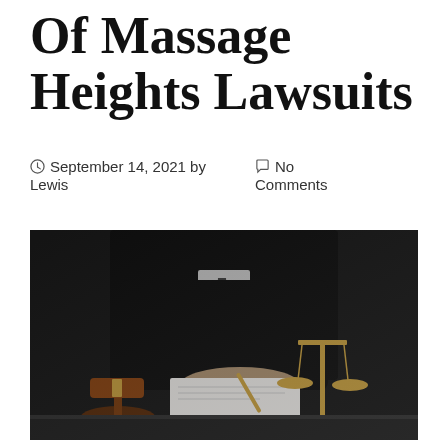Of Massage Heights Lawsuits
September 14, 2021 by Lewis
No Comments
[Figure (photo): A judge in black robes sitting at a desk, writing on paper with a pen. A wooden gavel and a gold balance scale (scales of justice) are on the desk in front of them. The background is dark.]